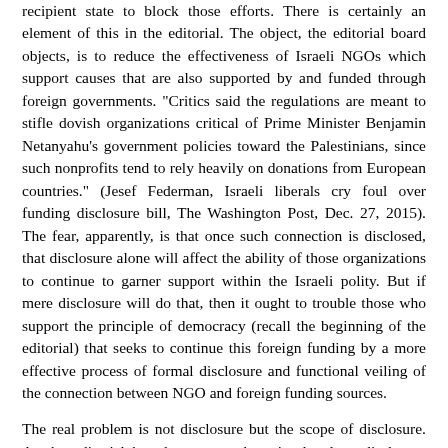recipient state to block those efforts. There is certainly an element of this in the editorial. The object, the editorial board objects, is to reduce the effectiveness of Israeli NGOs which support causes that are also supported by and funded through foreign governments. "Critics said the regulations are meant to stifle dovish organizations critical of Prime Minister Benjamin Netanyahu's government policies toward the Palestinians, since such nonprofits tend to rely heavily on donations from European countries." (Jesef Federman, Israeli liberals cry foul over funding disclosure bill, The Washington Post, Dec. 27, 2015). The fear, apparently, is that once such connection is disclosed, that disclosure alone will affect the ability of those organizations to continue to garner support within the Israeli polity. But if mere disclosure will do that, then it ought to trouble those who support the principle of democracy (recall the beginning of the editorial) that seeks to continue this foreign funding by a more effective process of formal disclosure and functional veiling of the connection between NGO and foreign funding sources.
The real problem is not disclosure but the scope of disclosure. As the editorial board suggests, there is already a disclosure system in Israel. Public disclosure, though, in this case would make it very difficult to be transparent and to continue to garner support within the Israeli polity.